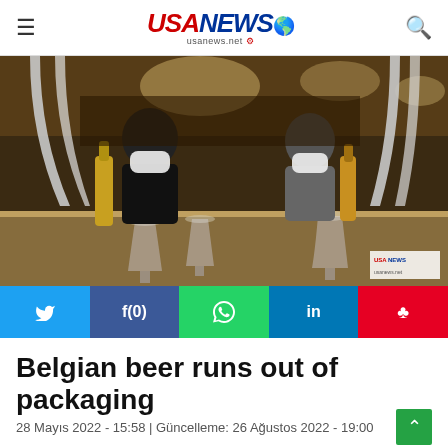≡  USANEWS usanews.net  🔍
[Figure (photo): Two bartenders wearing face masks pouring Belgian beer at a bar counter with large steel beer taps, wine glasses, and bottles visible. Warm bar interior lighting in background.]
[Figure (infographic): Social sharing bar with buttons: Twitter (light blue), Facebook f(0) (dark blue), WhatsApp (green), LinkedIn (blue), Pinterest (red)]
Belgian beer runs out of packaging
28 Mayıs 2022 - 15:58 | Güncelleme: 26 Ağustos 2022 - 19:00